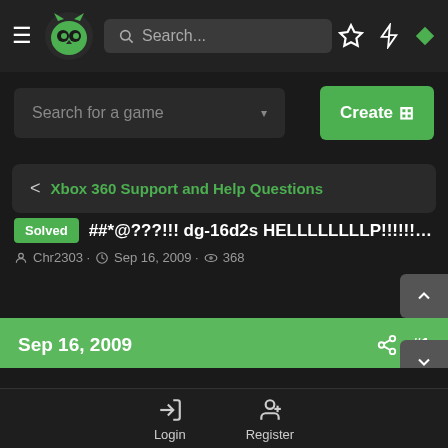[Figure (screenshot): Mobile app navigation bar with hamburger menu, green owl logo, search bar, and icons for bookmark, lightning, and diamond]
Search for a game
Create +
< Xbox 360 Support and Help Questions
Solved ##*@???!!! dg-16d2s HELLLLLLLLP!!!!!!!!!!!!!
Chr2303 · Sep 16, 2009 · 368
Sep 16, 2009
#1
Chr2303
Login
Register